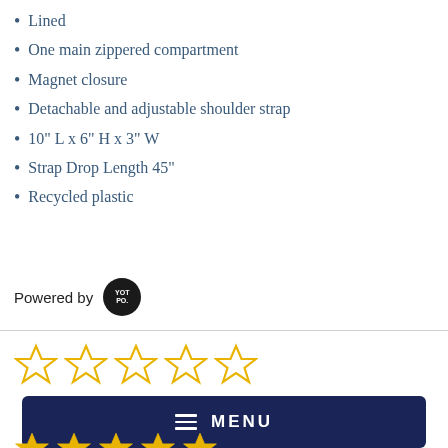Lined
One main zippered compartment
Magnet closure
Detachable and adjustable shoulder strap
10" L  x 6" H x 3" W
Strap Drop Length  45"
Recycled plastic
Powered by [Yotpo logo]
[Figure (other): Five empty star rating icons in gold outline, indicating 0 out of 5 stars]
[Figure (other): Dark navy blue MENU bar with hamburger icon and MENU text in white]
[Figure (other): Five filled gold star rating icons at bottom of page]